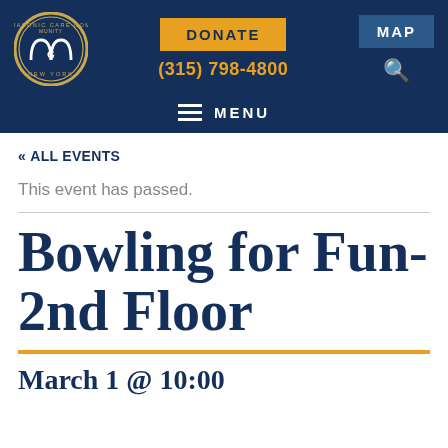[Figure (logo): Masonic Care Community New York circular logo with white triple-arch symbol on dark blue background with gold border]
DONATE | (315) 798-4800 | MAP | MENU
« ALL EVENTS
This event has passed.
Bowling for Fun- 2nd Floor
March 1 @ 10:00